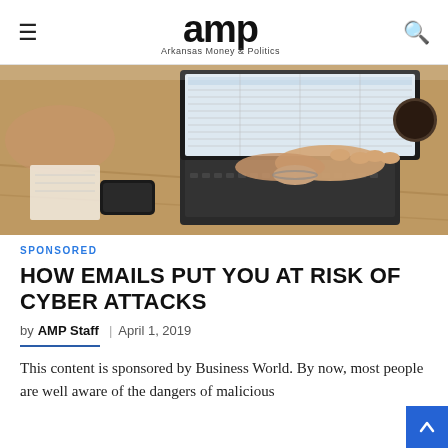amp — Arkansas Money & Politics
[Figure (photo): Person typing on a laptop computer at a wooden desk with a smartphone and coffee mug nearby]
SPONSORED
HOW EMAILS PUT YOU AT RISK OF CYBER ATTACKS
by AMP Staff  |  April 1, 2019
This content is sponsored by Business World. By now, most people are well aware of the dangers of malicious